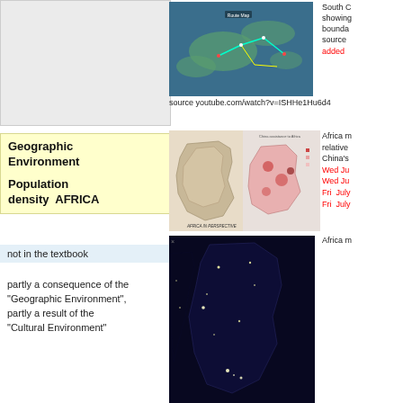[Figure (photo): Satellite/map image showing ocean routes in blue/cyan]
source youtube.com/watch?v=ISHHe1Hu6d4
South C... showing... bounda... source ... added...
Geographic Environment

Population density  AFRICA
[Figure (map): Africa in Perspective map and China assistance to Africa map]
Africa m... relative... China's... Wed Ju... Wed Ju... Fri July... Fri July...
not in the textbook
partly a consequence of the "Geographic Environment", partly a result of the "Cultural Environment"
[Figure (photo): Night satellite image of Africa showing city lights]
Africa m...